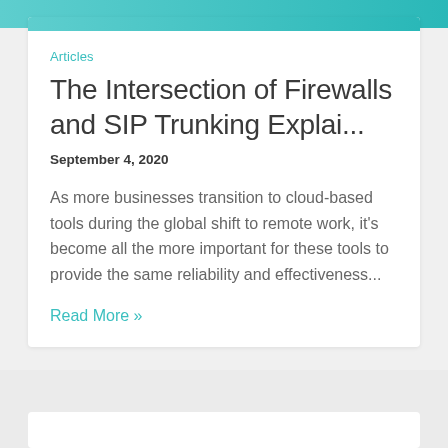[Figure (illustration): Teal/cyan gradient banner at top of card]
Articles
The Intersection of Firewalls and SIP Trunking Explai...
September 4, 2020
As more businesses transition to cloud-based tools during the global shift to remote work, it's become all the more important for these tools to provide the same reliability and effectiveness...
Read More »